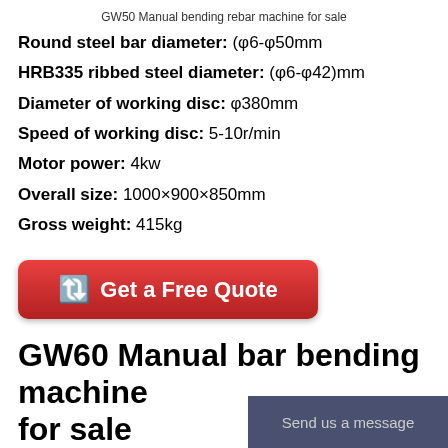GW50 Manual bending rebar machine for sale
Round steel bar diameter: (φ6-φ50mm
HRB335 ribbed steel diameter: (φ6-φ42)mm
Diameter of working disc: φ380mm
Speed of working disc: 5-10r/min
Motor power: 4kw
Overall size: 1000×900×850mm
Gross weight: 415kg
[Figure (other): Red rounded button with arrow emoji and text 'Get a Free Quote']
GW60 Manual bar bending machine for sale
Send us a message